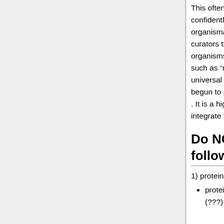This often means that cellular processes can be confidently transferred, and only very limited organismal processes may be transferred. Also, curators try not to propagate terms to ancestral organisms in which they are clearly inappropriate, such as “nucleus” for a gene present in the last universal common ancestor (LUCA). GO has begun to perform taxonomic checks on annotations . It is a high priority in the development of PAINT to integrate the taxonomic checks within the software.
Do NOT propagate the following terms
1) protein binding terms: examples:
protein binding (GO:0005515) and its children (???): PTHR10032: identical